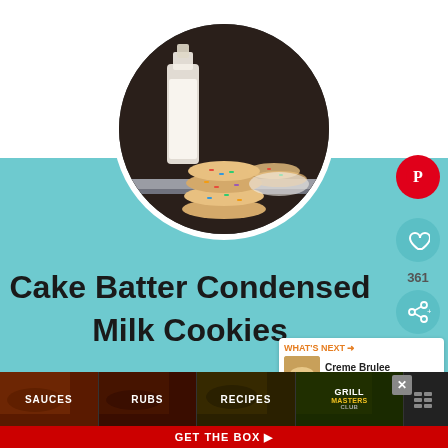[Figure (photo): Circular cropped photo of colorful sprinkle cookies stacked, with a milk bottle in background on dark surface]
Cake Batter Condensed Milk Cookies
[Figure (infographic): Social sharing buttons: Pinterest red circle, heart/like teal circle with count 361, share teal circle]
[Figure (infographic): What's Next panel showing Creme Brulee Cookies with thumbnail]
[Figure (infographic): Bottom ad bar: SAUCES, RUBS, RECIPES, GRILL MASTERS CLUB sections with GET THE BOX CTA]